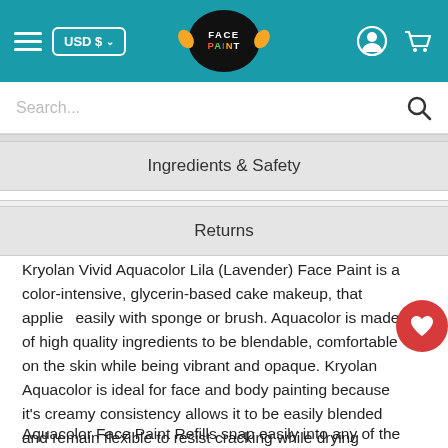Face Paint — USD $ header navigation with hamburger menu, currency selector, logo, user and cart icons
Search...
Ingredients & Safety
Returns
Kryolan Vivid Aquacolor Lila (Lavender) Face Paint is a color-intensive, glycerin-based cake makeup, that applies easily with sponge or brush. Aquacolor is made of high quality ingredients to be blendable, comfortable on the skin while being vibrant and opaque. Kryolan Aquacolor is ideal for face and body painting because it's creamy consistency allows it to be easily blended and remain flexible to resist cracking while drying quickly to a smudge-proof and durable finish.
Aquacolor Face Paint Refills snap easily into any of the Kryolan metal cased palettes. Comes in 30 ml sized